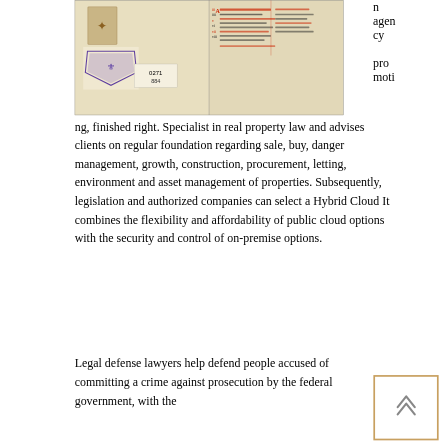[Figure (photo): Open medieval illuminated manuscript book with a blue heraldic stamp and label '0271 884' on the left page, and red and black text columns on the right page.]
n agency promoting, finished right. Specialist in real property law and advises clients on regular foundation regarding sale, buy, danger management, growth, construction, procurement, letting, environment and asset management of properties. Subsequently, legislation and authorized companies can select a Hybrid Cloud It combines the flexibility and affordability of public cloud options with the security and control of on-premise options.
Legal defense lawyers help defend people accused of committing a crime against prosecution by the federal government, with the